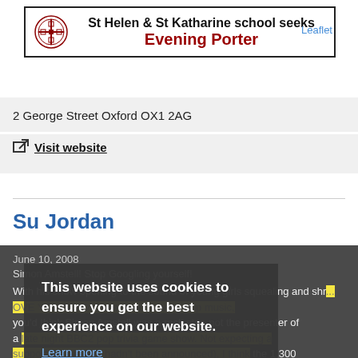[Figure (other): Advertisement banner for St Helen & St Katharine school seeking an Evening Porter, with school crest logo on the left]
2 George Street Oxford OX1 2AG
Visit website
Su Jordan
June 10, 2008
Simon Amstell! Stop Googling yourself!
With his show opening to the sound of young girls squealing and shre... 'OVE YOU SIMON' over loud, blaring pop music, you'd think Simon Amstell was a rock star, not the presenter of a late night BBC2 pop trivia game show. Not expecting a support act (as one hadn't been announced), I think the 1,300 strong audience in the stinkingly hot New Theatre did well not to riot as Arnab Chanda took to the stage. The moment passed
This website uses cookies to ensure you get the best experience on our website.
Learn more
Got it!